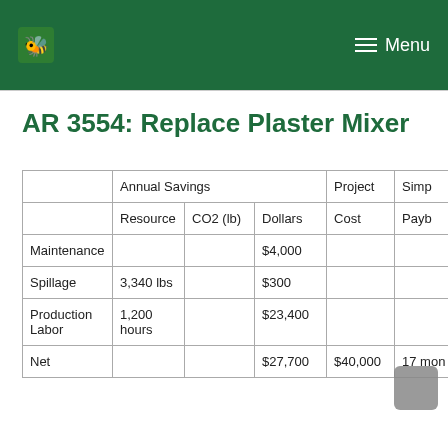Menu
AR 3554: Replace Plaster Mixer
|  | Annual Savings — Resource | Annual Savings — CO2 (lb) | Annual Savings — Dollars | Project Cost | Simple Payback |
| --- | --- | --- | --- | --- | --- |
| Maintenance |  |  | $4,000 |  |  |
| Spillage | 3,340 lbs |  | $300 |  |  |
| Production Labor | 1,200 hours |  | $23,400 |  |  |
| Net |  |  | $27,700 | $40,000 | 17 months |